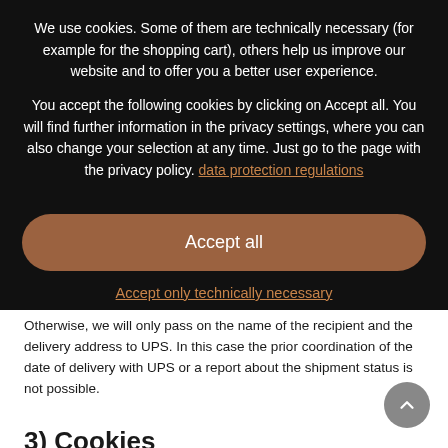We use cookies. Some of them are technically necessary (for example for the shopping cart), others help us improve our website and to offer you a better user experience.
You accept the following cookies by clicking on Accept all. You will find further information in the privacy settings, where you can also change your selection at any time. Just go to the page with the privacy policy. data protection regulations
Accept all
Accept only technically necessary
Otherwise, we will only pass on the name of the recipient and the delivery address to UPS. In this case the prior coordination of the date of delivery with UPS or a report about the shipment status is not possible.
3) Cookies
Among other things this website uses so-called "cookies" serving to make our Internet presence more user-friendly, effective and secure – for instance to accelerate navigation on our platform. Furthermore, cookies allow us to measure the frequency of website visits as well as general navigation. Cookies are small text files stored on your computer system. Please note that some of these cookies are transferred from our server